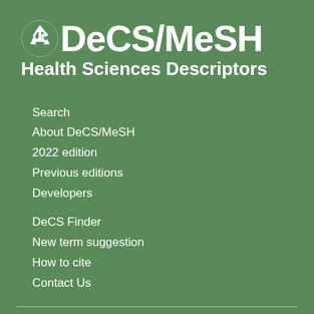DeCS/MeSH Health Sciences Descriptors
Search
About DeCS/MeSH
2022 edition
Previous editions
Developers
DeCS Finder
New term suggestion
How to cite
Contact Us
Terms and conditions of use Privacy policy